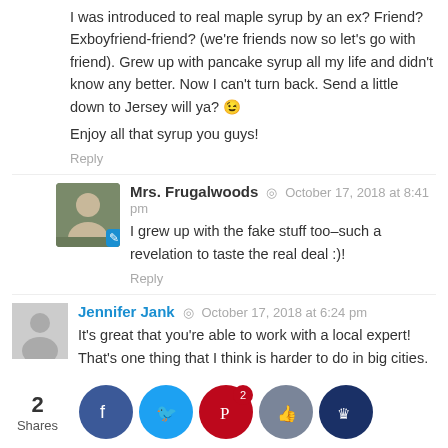I was introduced to real maple syrup by an ex? Friend? Exboyfriend-friend? (we're friends now so let's go with friend). Grew up with pancake syrup all my life and didn't know any better. Now I can't turn back. Send a little down to Jersey will ya? 😉
Enjoy all that syrup you guys!
Reply
Mrs. Frugalwoods · October 17, 2018 at 8:41 pm
I grew up with the fake stuff too–such a revelation to taste the real deal :)!
Reply
Jennifer Jank · October 17, 2018 at 6:24 pm
It's great that you're able to work with a local expert! That's one thing that I think is harder to do in big cities.
Reply
Natalie T. · October 17, 2018 at 8:05 pm
Ba... ods in th... oto?!
Lo... forward... ing the ... g Frug... s' map...